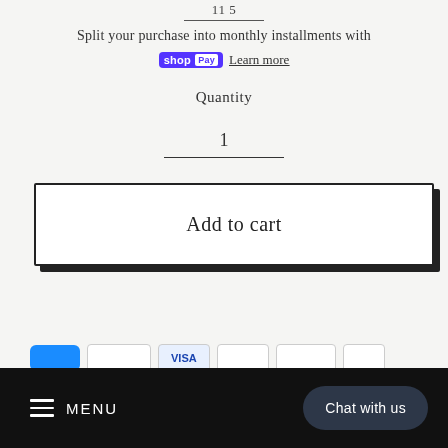Split your purchase into monthly installments with
shop Pay  Learn more
Quantity
1
Add to cart
[Figure (other): Payment method icons row: blue button, outlined rectangle, blue icon, grey icons]
≡ MENU  Chat with us